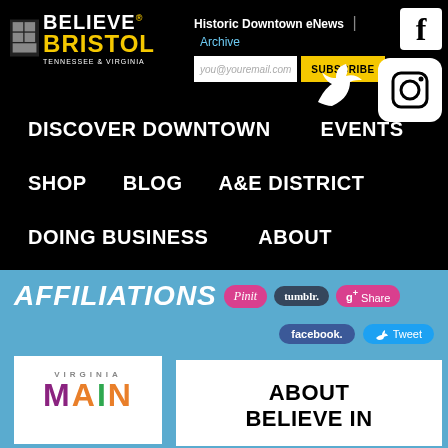Believe Bristol
Historic Downtown eNews | Archive
you@youremail.com SUBSCRIBE
DISCOVER DOWNTOWN
EVENTS
SHOP
BLOG
A&E DISTRICT
DOING BUSINESS
ABOUT
AFFILIATIONS
[Figure (logo): Virginia Main Street logo with colorful letters]
ABOUT BELIEVE IN